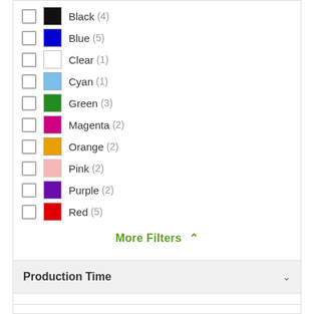Black (4)
Blue (5)
Clear (1)
Cyan (1)
Green (3)
Magenta (2)
Orange (2)
Pink (2)
Purple (2)
Red (5)
More Filters
Production Time
5 Working Days (3)
7 Working Days (7)